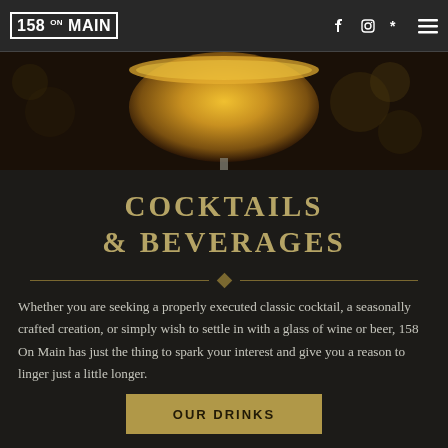158 On Main — Navigation bar with logo, Facebook, Instagram, Yelp icons and hamburger menu
[Figure (photo): Close-up photo of a golden/amber cocktail in a coupe glass against a dark background with bokeh]
COCKTAILS & BEVERAGES
Whether you are seeking a properly executed classic cocktail, a seasonally crafted creation, or simply wish to settle in with a glass of wine or beer, 158 On Main has just the thing to spark your interest and give you a reason to linger just a little longer.
OUR DRINKS